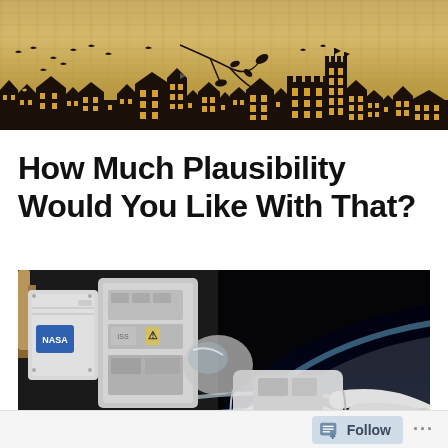[Figure (illustration): Decorative header banner with aged parchment background, silhouettes of gothic/Victorian buildings and a castle on the right, bare tree branches with leaves blowing in the wind, and birds flying across the top.]
How Much Plausibility Would You Like With That?
[Figure (photo): Photograph of astronauts or equipment during a spacewalk outside the International Space Station, with Earth's curved horizon and atmosphere visible against black space in the background. NASA logo visible on suit/equipment.]
Follow ...